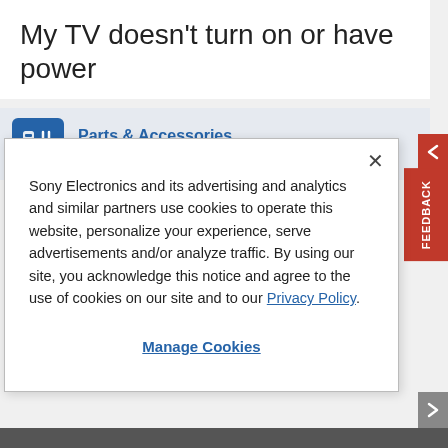My TV doesn't turn on or have power
[Figure (infographic): Parts & Accessories banner with blue icon showing remote/accessories and text: Parts & Accessories - Product information and sales assistance]
Sony Electronics and its advertising and analytics and similar partners use cookies to operate this website, personalize your experience, serve advertisements and/or analyze traffic. By using our site, you acknowledge this notice and agree to the use of cookies on our site and to our Privacy Policy.
Manage Cookies